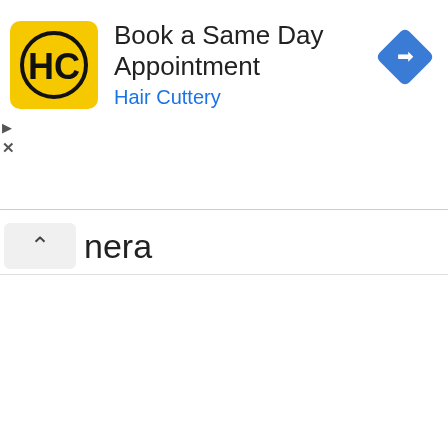[Figure (screenshot): Advertisement banner for Hair Cuttery. Shows a yellow HC logo on the left, title 'Book a Same Day Appointment', subtitle 'Hair Cuttery' in blue, a blue diamond navigation icon on the right, and ad controls (play and close buttons) on the left side.]
nera